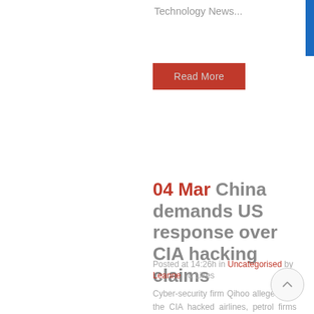Technology News...
Read More
04 Mar China demands US response over CIA hacking claims
Posted at 14:26h in Uncategorised by Leanne · 0 Likes
Cyber-security firm Qihoo alleged that the CIA hacked airlines, petrol firms and government agencies. Source: BBC Technology News...